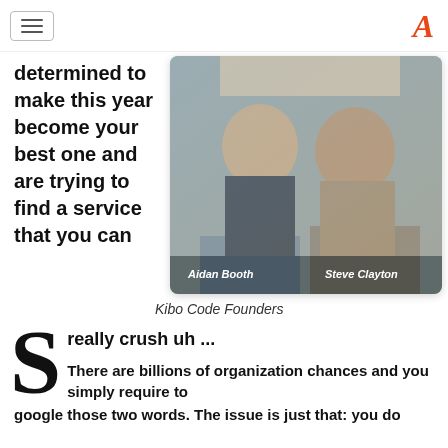navigation menu and logo
determined to make this year become your best one and are trying to find a service that you can
[Figure (photo): Photo of two men sitting on brown leather chairs/sofa, smiling. Left person labeled 'Aidan Booth', right person labeled 'Steve Clayton'. Indoor setting with wooden shelving in background.]
Kibo Code Founders
really crush uh ...
There are billions of organization chances and you simply require to google those two words. The issue is just that: you do